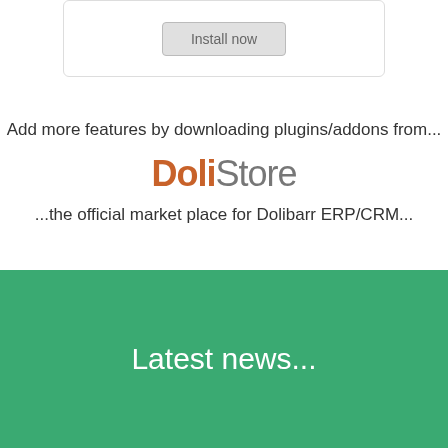[Figure (screenshot): Install now button inside a card/panel with rounded border]
Add more features by downloading plugins/addons from...
[Figure (logo): DoliStore logo with 'Doli' in orange/brown bold and 'Store' in gray]
...the official market place for Dolibarr ERP/CRM...
Latest news...